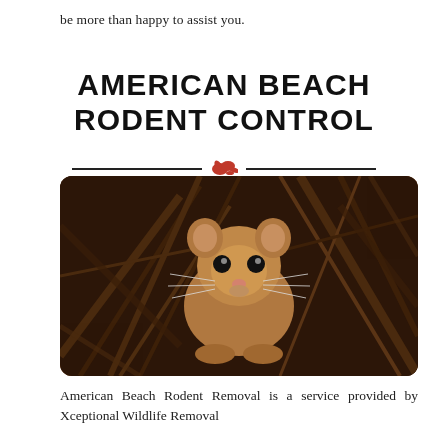be more than happy to assist you.
AMERICAN BEACH RODENT CONTROL
[Figure (photo): Close-up photograph of a small brown mouse or harvest mouse peering through dried brown twigs and grasses, with dark eyes and whiskers visible.]
American Beach Rodent Removal is a service provided by Xceptional Wildlife Removal